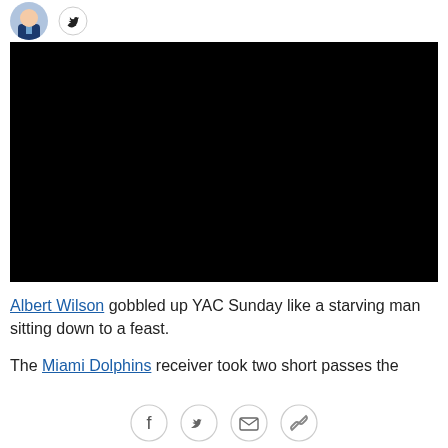[Figure (photo): Author avatar (headshot) and Twitter bird icon in header area]
[Figure (screenshot): Black video player embed area]
Albert Wilson gobbled up YAC Sunday like a starving man sitting down to a feast.
The Miami Dolphins receiver took two short passes the
Social share icons: Facebook, Twitter, Email, Link